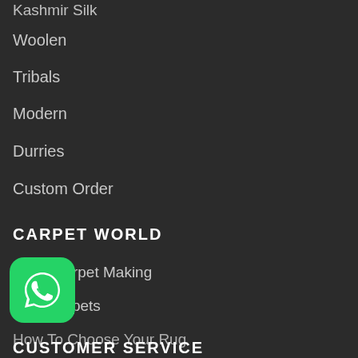Kashmir Silk
Woolen
Tribals
Modern
Durries
Custom Order
CARPET WORLD
Art of Carpet Making
Why Carpets
How To Choose Your Rug
Carpet Care
Interior Advice
G
[Figure (logo): WhatsApp icon — green rounded square with white phone handset chat bubble logo]
CUSTOMER SERVICE